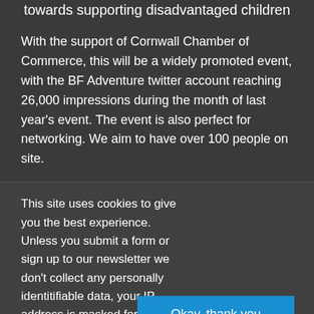towards supporting disadvantaged children
With the support of Cornwall Chamber of Commerce, this will be a widely promoted event, with the BF Adventure twitter account reaching 26,000 impressions during the month of last year's event. The event is also perfect for networking. We aim to have over 100 people on site.
This site uses cookies to give you the best experience. Unless you submit a form or sign up to our newsletter we don't collect any personally identitifiable data, your IP address is masked for our analytics. If you'd like to know more about how to manage or remove cookies, or would like to view our privacy policy please click HERE
Okay, thank you